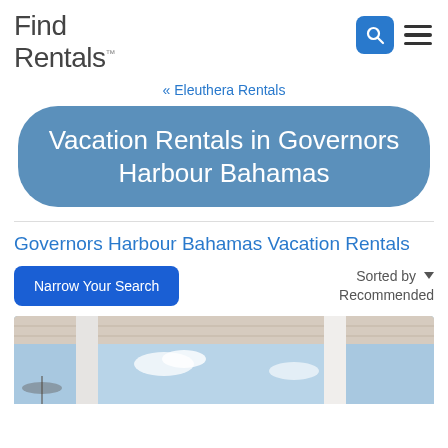Find Rentals™
« Eleuthera Rentals
Vacation Rentals in Governors Harbour Bahamas
Governors Harbour Bahamas Vacation Rentals
Narrow Your Search | Sorted by ▾ Recommended
[Figure (photo): Exterior covered porch/veranda of a vacation rental with white columns and blue sky visible in background.]